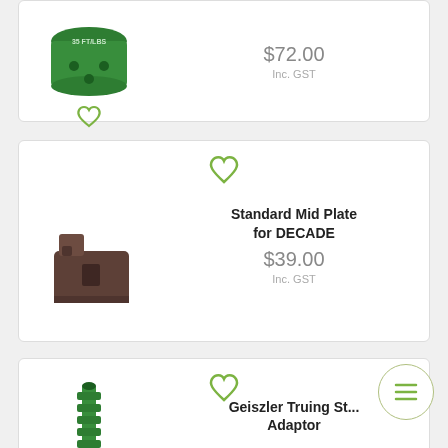[Figure (photo): Green anodized aluminum part labeled 35 FT/LBS, partially cropped at top]
$72.00
Inc. GST
[Figure (photo): Brown plastic Standard Mid Plate component for DECADE bike part]
Standard Mid Plate for DECADE
$39.00
Inc. GST
[Figure (photo): Green Geiszler Truing Stand Adaptor, partially visible at bottom]
Geiszler Truing St... Adaptor